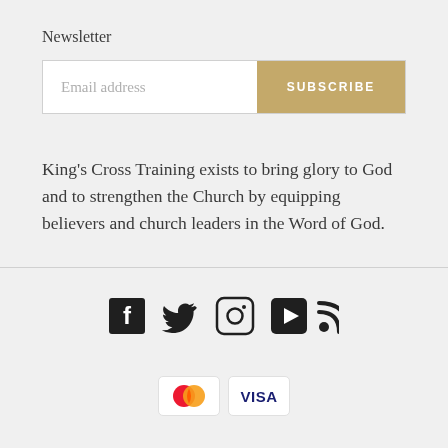Newsletter
Email address
SUBSCRIBE
King's Cross Training exists to bring glory to God and to strengthen the Church by equipping believers and church leaders in the Word of God.
[Figure (infographic): Social media icons: Facebook, Twitter, Instagram, YouTube, RSS]
[Figure (infographic): Payment icons: Mastercard and Visa]